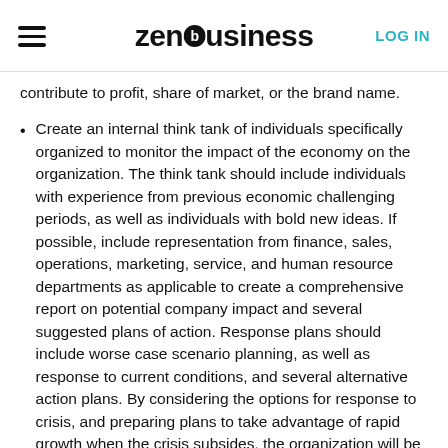zenbusiness | LOG IN
contribute to profit, share of market, or the brand name.
Create an internal think tank of individuals specifically organized to monitor the impact of the economy on the organization. The think tank should include individuals with experience from previous economic challenging periods, as well as individuals with bold new ideas. If possible, include representation from finance, sales, operations, marketing, service, and human resource departments as applicable to create a comprehensive report on potential company impact and several suggested plans of action. Response plans should include worse case scenario planning, as well as response to current conditions, and several alternative action plans. By considering the options for response to crisis, and preparing plans to take advantage of rapid growth when the crisis subsides, the organization will be poised to respond